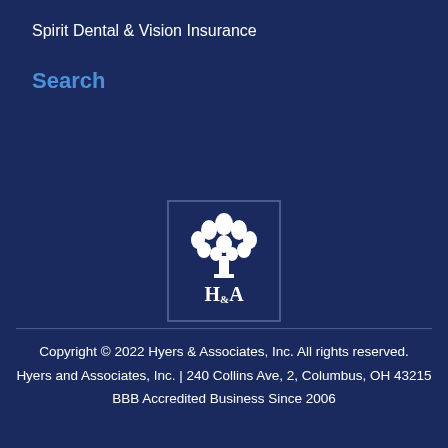Spirit Dental & Vision Insurance
Search
[Figure (logo): H&A (Hyers and Associates) logo — white tree above 'H & A' text on dark navy background]
Copyright © 2022 Hyers & Associates, Inc. All rights reserved. Hyers and Associates, Inc. | 240 Collins Ave, 2, Columbus, OH 43215 BBB Accredited Business Since 2006